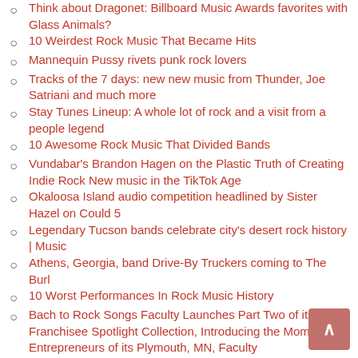Think about Dragonet: Billboard Music Awards favorites with Glass Animals?
10 Weirdest Rock Music That Became Hits
Mannequin Pussy rivets punk rock lovers
Tracks of the 7 days: new new music from Thunder, Joe Satriani and much more
Stay Tunes Lineup: A whole lot of rock and a visit from a people legend
10 Awesome Rock Music That Divided Bands
Vundabar's Brandon Hagen on the Plastic Truth of Creating Indie Rock New music in the TikTok Age
Okaloosa Island audio competition headlined by Sister Hazel on Could 5
Legendary Tucson bands celebrate city's desert rock history | Music
Athens, Georgia, band Drive-By Truckers coming to The Burl
10 Worst Performances In Rock Music History
Bach to Rock Songs Faculty Launches Part Two of its Franchisee Spotlight Collection, Introducing the Mom-Son Entrepreneurs of its Plymouth, MN, Faculty